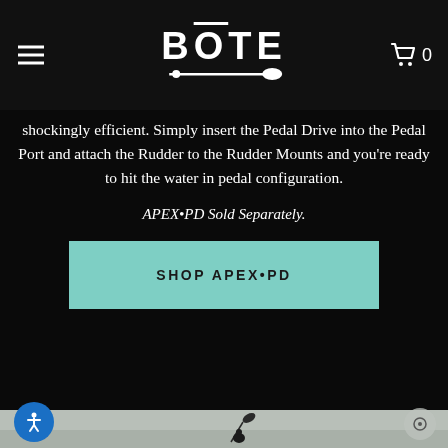BŌTE — navigation header with hamburger menu, logo, and cart icon
shockingly efficient. Simply insert the Pedal Drive into the Pedal Port and attach the Rudder to the Rudder Mounts and you're ready to hit the water in pedal configuration.
APEX•PD Sold Separately.
SHOP APEX•PD
[Figure (photo): Outdoor water scene with person kayaking visible at bottom of image, calm water in background]